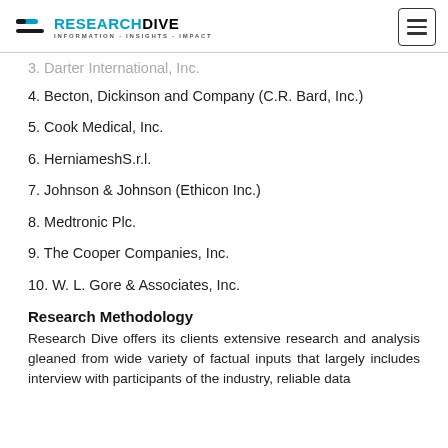RESEARCH DIVE INFORMATION-INSIGHTS-IMPACT
3. Darter International, Inc.
4. Becton, Dickinson and Company (C.R. Bard, Inc.)
5. Cook Medical, Inc.
6. HerniameshS.r.l.
7. Johnson & Johnson (Ethicon Inc.)
8. Medtronic Plc.
9. The Cooper Companies, Inc.
10. W. L. Gore & Associates, Inc.
Research Methodology
Research Dive offers its clients extensive research and analysis gleaned from wide variety of factual inputs that largely includes interview with participants of the industry, reliable data